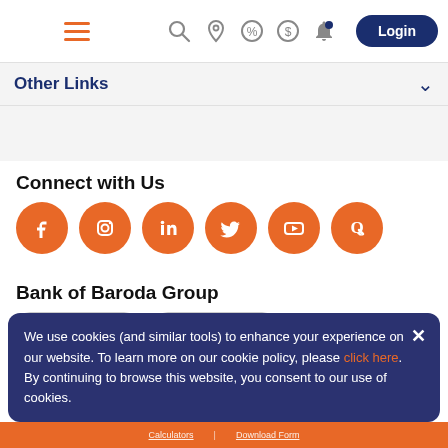[Figure (logo): Bank of Baroda logo — orange B letter with shell design]
[Figure (screenshot): Navigation bar with hamburger menu, search, location, percent, dollar, bell icons and Login button]
Other Links
Connect with Us
[Figure (infographic): Six orange social media icons: Facebook, Instagram, LinkedIn, Twitter, YouTube, Quora]
Bank of Baroda Group
[Figure (screenshot): Two dropdown buttons: Group Websites and Country Websites]
We use cookies (and similar tools) to enhance your experience on our website. To learn more on our cookie policy, please click here. By continuing to browse this website, you consent to our use of cookies.